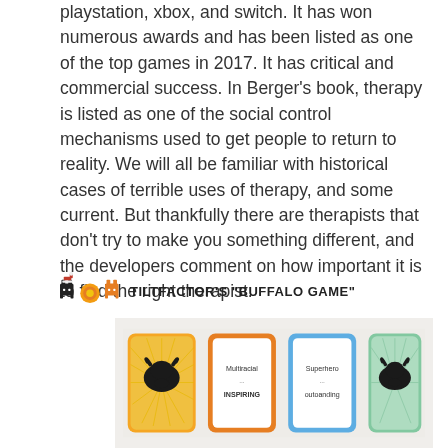playstation, xbox, and switch. It has won numerous awards and has been listed as one of the top games in 2017. It has critical and commercial success. In Berger's book, therapy is listed as one of the social control mechanisms used to get people to return to reality. We will all be familiar with historical cases of terrible uses of therapy, and some current. But thankfully there are therapists that don't try to make you something different, and the developers comment on how important it is to find the right therapist.
TILTFACTOR'S "BUFFALO GAME"
[Figure (photo): Photo of four Buffalo card game cards arranged in a row. Two cards have buffalo/bison head silhouettes on colored backgrounds (orange/yellow and mint green). Two cards in the middle are white with orange and blue borders respectively, showing text that reads 'Multiracial ... INSPIRING' and 'Superhero ... outoanding'.]